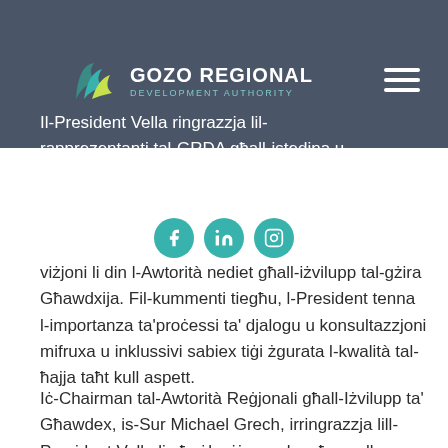Reġjonali għall-iżvilupp ta' Għawdex.
[Figure (logo): Gozo Regional Development Authority logo with teal/green wave icon and white text]
Il-President Vella ringrazzja lil-rapprezentanti tal-GRDA għall-istedina u esprima l-apprezzament tiegħu għall-viżjoni li din l-Awtorità nediet għall-iżvilupp tal-gżira Għawdxija. Fil-kummenti tiegħu, l-President tenna l-importanza ta'proċessi ta' djalogu u konsultazzjoni mifruxa u inklussivi sabiex tiġi żgurata l-kwalità tal-ħajja taħt kull aspett.
Iċ-Chairman tal-Awtorità Reġjonali għall-Iżvilupp ta' Għawdex, is-Sur Michael Grech, irringrazzja lill-President Vella li għoġbu jżomm laqgħa mall-Membri tal-Bord. Hu spjega li waħda mill-ewwel inizjattivi li